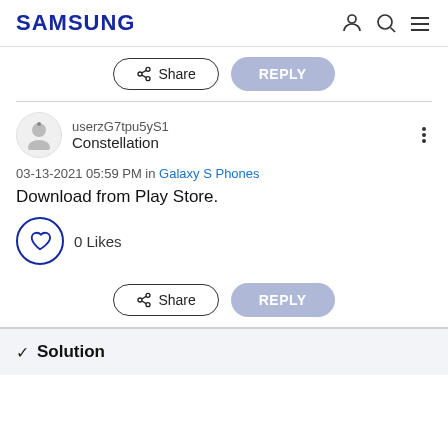SAMSUNG
Share  REPLY
userzG7tpu5yS1
Constellation
03-13-2021 05:59 PM in Galaxy S Phones
Download from Play Store.
0 Likes
Share  REPLY
✓ Solution